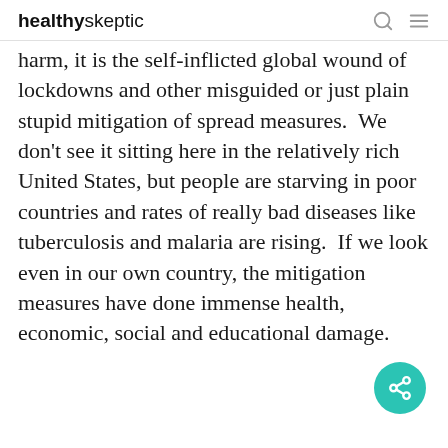healthyskeptic
harm, it is the self-inflicted global wound of lockdowns and other misguided or just plain stupid mitigation of spread measures.  We don't see it sitting here in the relatively rich United States, but people are starving in poor countries and rates of really bad diseases like tuberculosis and malaria are rising.  If we look even in our own country, the mitigation measures have done immense health, economic, social and educational damage.